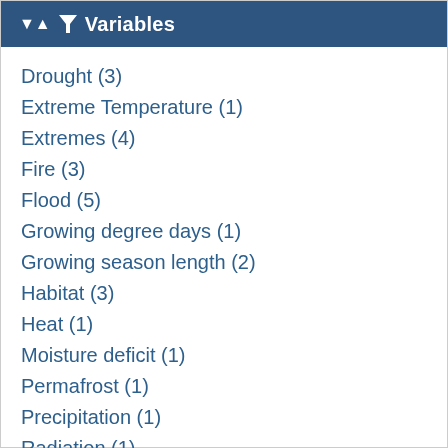Variables
Drought (3)
Extreme Temperature (1)
Extremes (4)
Fire (3)
Flood (5)
Growing degree days (1)
Growing season length (2)
Habitat (3)
Heat (1)
Moisture deficit (1)
Permafrost (1)
Precipitation (1)
Radiation (1)
Sea ice (1)
Sea level (2)
Species (2)
Temperature (1)